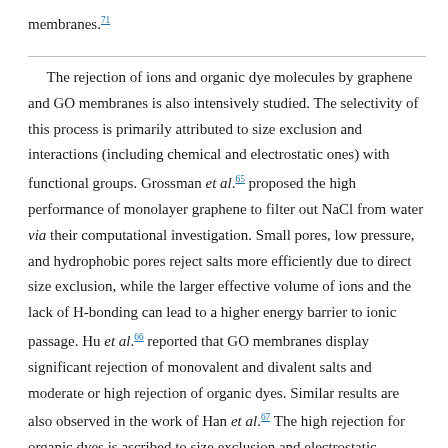membranes. [71]
The rejection of ions and organic dye molecules by graphene and GO membranes is also intensively studied. The selectivity of this process is primarily attributed to size exclusion and interactions (including chemical and electrostatic ones) with functional groups. Grossman et al.[65] proposed the high performance of monolayer graphene to filter out NaCl from water via their computational investigation. Small pores, low pressure, and hydrophobic pores reject salts more efficiently due to direct size exclusion, while the larger effective volume of ions and the lack of H-bonding can lead to a higher energy barrier to ionic passage. Hu et al.[66] reported that GO membranes display significant rejection of monovalent and divalent salts and moderate or high rejection of organic dyes. Similar results are also observed in the work of Han et al.[67] The high rejection for organic dyes is ascribed to size exclusion and electrostatic